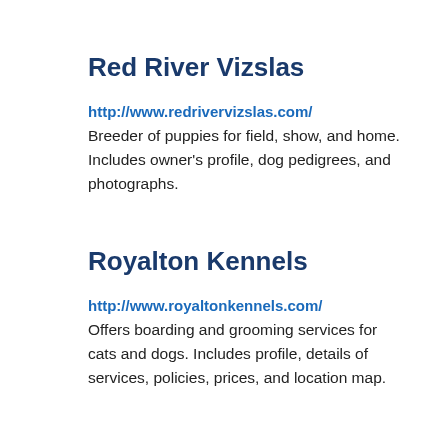Red River Vizslas
http://www.redrivervizslas.com/
Breeder of puppies for field, show, and home. Includes owner's profile, dog pedigrees, and photographs.
Royalton Kennels
http://www.royaltonkennels.com/
Offers boarding and grooming services for cats and dogs. Includes profile, details of services, policies, prices, and location map.